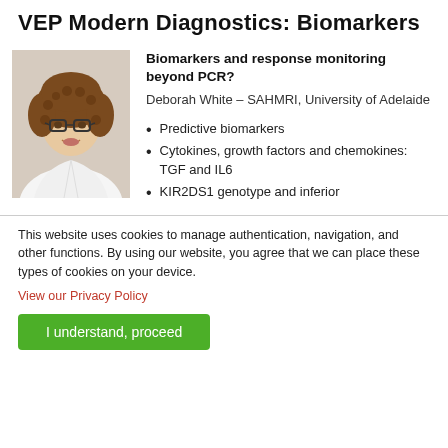VEP Modern Diagnostics: Biomarkers
[Figure (photo): Headshot photo of a woman with curly brown hair and glasses, wearing a white blazer, smiling at the camera.]
Biomarkers and response monitoring beyond PCR?
Deborah White – SAHMRI, University of Adelaide
Predictive biomarkers
Cytokines, growth factors and chemokines: TGF and IL6
KIR2DS1 genotype and inferior
This website uses cookies to manage authentication, navigation, and other functions. By using our website, you agree that we can place these types of cookies on your device.
View our Privacy Policy
I understand, proceed